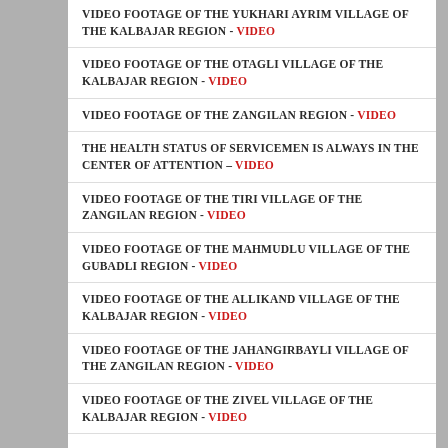VIDEO FOOTAGE OF THE YUKHARI AYRIM VILLAGE OF THE KALBAJAR REGION - VIDEO
VIDEO FOOTAGE OF THE OTAGLI VILLAGE OF THE KALBAJAR REGION - VIDEO
VIDEO FOOTAGE OF THE ZANGILAN REGION - VIDEO
THE HEALTH STATUS OF SERVICEMEN IS ALWAYS IN THE CENTER OF ATTENTION – VIDEO
VIDEO FOOTAGE OF THE TIRI VILLAGE OF THE ZANGILAN REGION - VIDEO
VIDEO FOOTAGE OF THE MAHMUDLU VILLAGE OF THE GUBADLI REGION - VIDEO
VIDEO FOOTAGE OF THE ALLIKAND VILLAGE OF THE KALBAJAR REGION - VIDEO
VIDEO FOOTAGE OF THE JAHANGIRBAYLI VILLAGE OF THE ZANGILAN REGION - VIDEO
VIDEO FOOTAGE OF THE ZIVEL VILLAGE OF THE KALBAJAR REGION - VIDEO